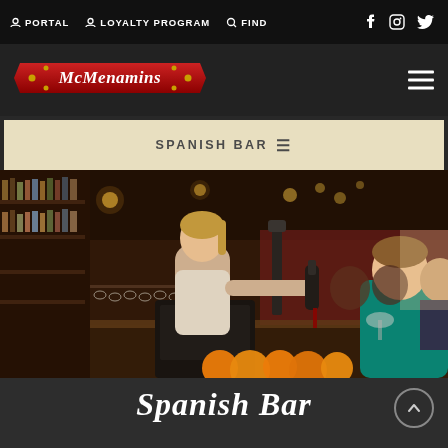PORTAL  LOYALTY PROGRAM  FIND  [social icons: f, Instagram, Twitter]
[Figure (logo): McMenamins logo — red banner with decorative lettering]
SPANISH BAR ≡
[Figure (photo): Interior photo of a busy bar scene. A female bartender with a blonde ponytail pours a drink from a bottle, behind a POS terminal. Customers sit at the bar; a woman in teal holds a wine glass. Shelves of liquor bottles line the back wall. Warm amber lighting, red walls, hanging pendant lights. Oranges and garnishes visible in the foreground.]
Spanish Bar